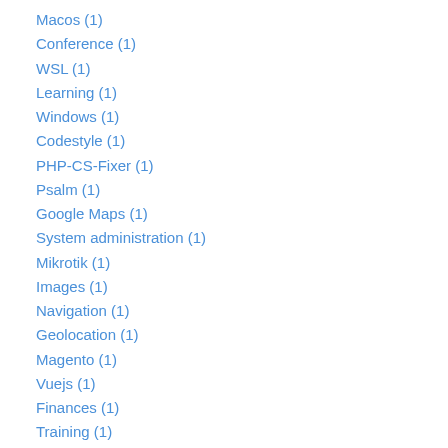Macos (1)
Conference (1)
WSL (1)
Learning (1)
Windows (1)
Codestyle (1)
PHP-CS-Fixer (1)
Psalm (1)
Google Maps (1)
System administration (1)
Mikrotik (1)
Images (1)
Navigation (1)
Geolocation (1)
Magento (1)
Vuejs (1)
Finances (1)
Training (1)